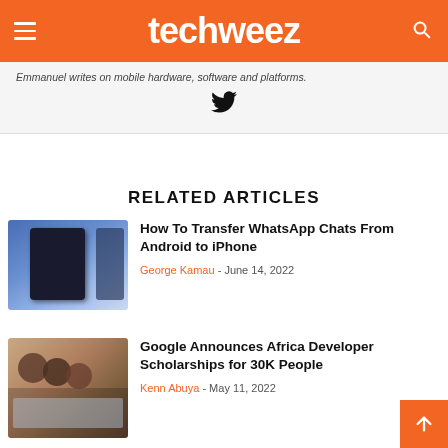techweez
Emmanuel writes on mobile hardware, software and platforms.
[Figure (illustration): Twitter bird icon]
RELATED ARTICLES
[Figure (photo): WhatsApp chats on an Android phone screen]
How To Transfer WhatsApp Chats From Android to iPhone
George Kamau - June 14, 2022
[Figure (photo): People looking at a laptop screen together]
Google Announces Africa Developer Scholarships for 30K People
Kenn Abuya - May 11, 2022